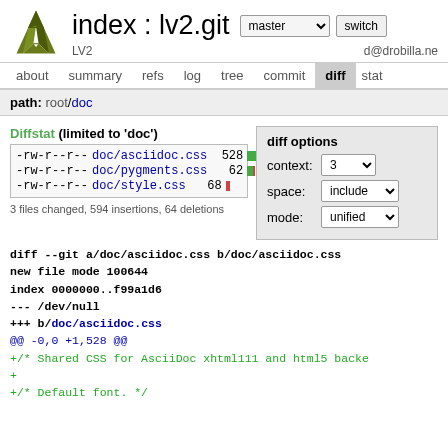index : lv2.git  master  switch  LV2  d@drobilla.ne
about  summary  refs  log  tree  commit  diff  stat
path: root/doc
Diffstat (limited to 'doc')
| perms | file | count | bar |
| --- | --- | --- | --- |
| -rw-r--r-- | doc/asciidoc.css | 528 | large green |
| -rw-r--r-- | doc/pygments.css | 62 | small green+red |
| -rw-r--r-- | doc/style.css | 68 | small red |
3 files changed, 594 insertions, 64 deletions
diff options  context: 3  space: include  mode: unified
diff --git a/doc/asciidoc.css b/doc/asciidoc.css
new file mode 100644
index 0000000..f99a1d6
--- /dev/null
+++ b/doc/asciidoc.css
@@ -0,0 +1,528 @@
+/* Shared CSS for AsciiDoc xhtml111 and html5 backe
+
+/* Default font. */